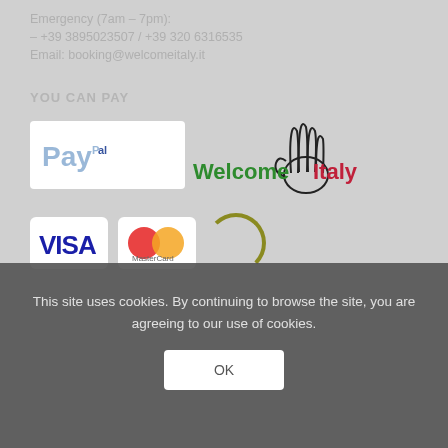Emergency (7am – 7pm):
– +39 3895023507 / +39 320 6316535
Email: booking@welcomeitaly.it
YOU CAN PAY
[Figure (logo): PayPal logo and Welcome Italy logo with hand icon]
[Figure (logo): Visa and Mastercard logos, loading spinner]
This site uses cookies. By continuing to browse the site, you are agreeing to our use of cookies.
OK